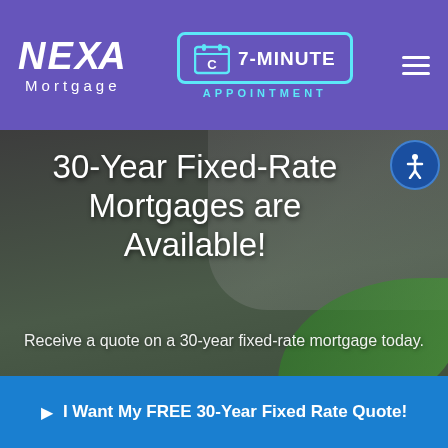NEXA Mortgage — 7-MINUTE APPOINTMENT
[Figure (screenshot): Hero background photo showing scissors, keys, and a green leaf on a wooden surface, darkened with overlay]
30-Year Fixed-Rate Mortgages are Available!
Receive a quote on a 30-year fixed-rate mortgage today.
I Want My FREE 30-Year Fixed Rate Quote!